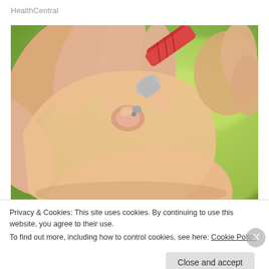HealthCentral
[Figure (photo): Close-up photo of a person using a lancet pen device to prick a fingertip for blood glucose testing, with a blurred green background.]
Privacy & Cookies: This site uses cookies. By continuing to use this website, you agree to their use.
To find out more, including how to control cookies, see here: Cookie Policy
Close and accept